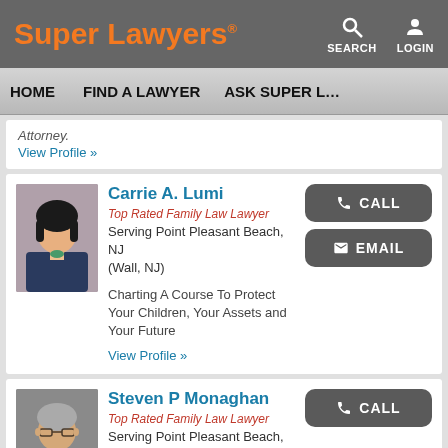Super Lawyers — SEARCH LOGIN — HOME | FIND A LAWYER | ASK SUPER L…
Attorney: View Profile »
Carrie A. Lumi
Top Rated Family Law Lawyer
Serving Point Pleasant Beach, NJ (Wall, NJ)
Charting A Course To Protect Your Children, Your Assets and Your Future
View Profile »
Steven P Monaghan
Top Rated Family Law Lawyer
Serving Point Pleasant Beach, NJ (Red Bank, NJ)
CLIENTS FIRST, QUALITY…